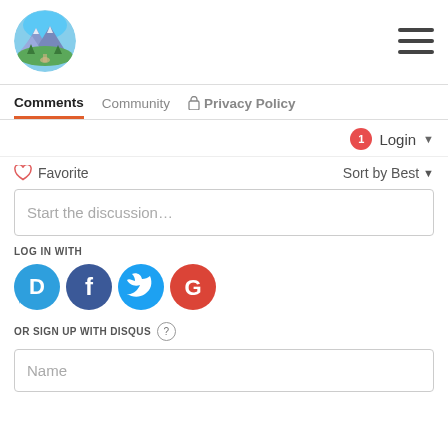[Figure (logo): Circular logo with mountain landscape scene — mountains, trees, and a path.]
[Figure (illustration): Hamburger menu icon — three horizontal lines.]
Comments | Community | Privacy Policy
Login
Favorite
Sort by Best
Start the discussion…
LOG IN WITH
[Figure (illustration): Social login icons: Disqus (blue speech bubble with D), Facebook (dark blue circle with f), Twitter (light blue circle with bird), Google (red circle with G)]
OR SIGN UP WITH DISQUS
Name